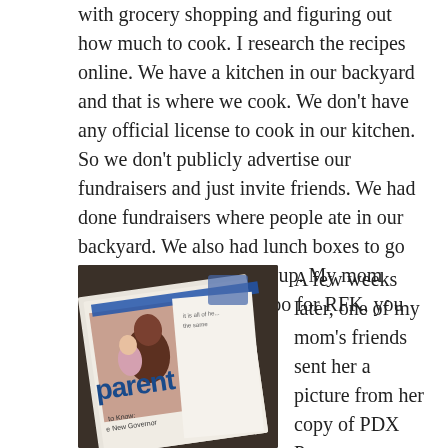with grocery shopping and figuring out how much to cook. I research the recipes online. We have a kitchen in our backyard and that is where we cook. We don't have any official license to cook in our kitchen. So we don't publicly advertise our fundraisers and just invite friends. We had done fundraisers where people ate in our backyard. We also had lunch boxes to go that people came to pick up. My mom made a Facebook page too for RFK, you should check it out. 🙂
[Figure (photo): A magazine (PDX Parent) open on a table, showing a woman with a child on the cover, with the word 'parent' visible in large blue letters.]
A few weeks later, one of my mom's friends sent her a picture from her copy of PDX Parent magazine. It is so interesting to see my responses stitched together